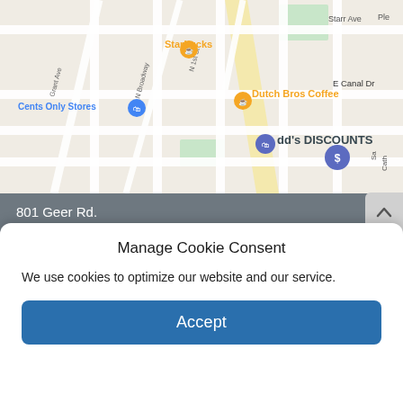[Figure (map): Google Maps screenshot showing the area around 801 Geer Rd, Turlock, CA. Visible locations include Starbucks (orange pin), Cents Only Stores (blue pin), Dutch Bros Coffee (orange pin), dd's DISCOUNTS (blue pin), and an unidentified dollar-sign pin. Street names visible include Starr Ave, E Canal Dr, N 1st St, N Broadway, Grant Ave.]
801 Geer Rd.
Turlock, CA 95380
1-209-634-2929 TF: 1-888-991-2929
info@gdiins.com
Manage Cookie Consent
We use cookies to optimize our website and our service.
Accept